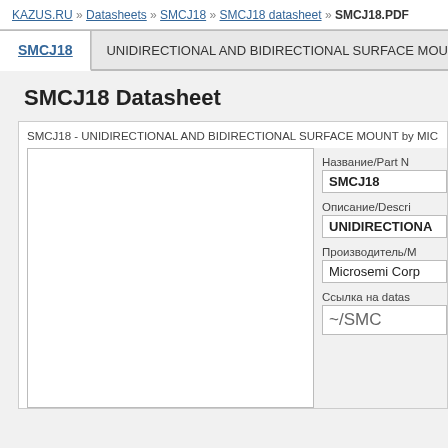KAZUS.RU » Datasheets » SMCJ18 » SMCJ18 datasheet » SMCJ18.PDF
SMCJ18   UNIDIRECTIONAL AND BIDIRECTIONAL SURFACE MOUNT
SMCJ18 Datasheet
SMCJ18 - UNIDIRECTIONAL AND BIDIRECTIONAL SURFACE MOUNT by MIC
[Figure (other): PDF preview area of SMCJ18 datasheet, blank white rectangle]
Название/Part N
SMCJ18
Описание/Descri
UNIDIRECTIONA
Производитель/M
Microsemi Corp
Ссылка на datas
~/SMC